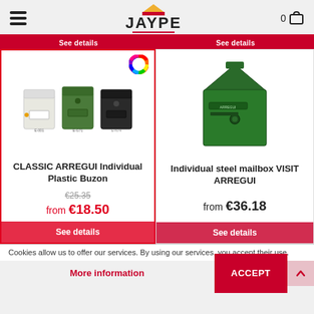JAYPE
[Figure (photo): CLASSIC ARREGUI Individual Plastic Buzon - three mailboxes in white, green and dark/black colors]
CLASSIC ARREGUI Individual Plastic Buzon
€25.35 from €18.50
See details
[Figure (photo): Individual steel mailbox VISIT ARREGUI - green steel mailbox]
Individual steel mailbox VISIT ARREGUI
from €36.18
See details
Cookies allow us to offer our services. By using our services, you accept their use.
More information
ACCEPT